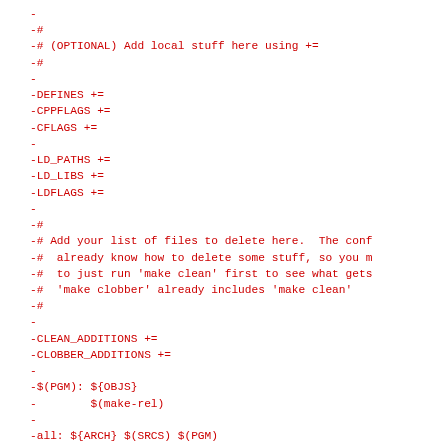-
-#
-# (OPTIONAL) Add local stuff here using +=
-#
-
-DEFINES +=
-CPPFLAGS +=
-CFLAGS +=
-
-LD_PATHS +=
-LD_LIBS +=
-LDFLAGS +=
-
-#
-# Add your list of files to delete here.  The conf
-#  already know how to delete some stuff, so you m
-#  to just run 'make clean' first to see what gets
-#  'make clobber' already includes 'make clean'
-#
-
-CLEAN_ADDITIONS +=
-CLOBBER_ADDITIONS +=
-
-$(PGM): ${OBJS}
-        $(make-rel)
-
-all: ${ARCH} $(SRCS) $(PGM)
-
-# the .rel file built here will be put into libbsp
-install: all